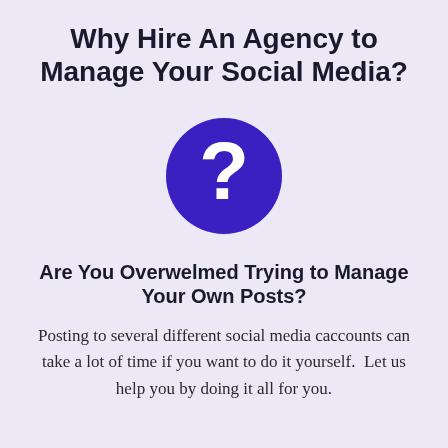Why Hire An Agency to Manage Your Social Media?
[Figure (illustration): A dark blue/purple circle containing a large white question mark symbol in the center.]
Are You Overwelmed Trying to Manage Your Own Posts?
Posting to several different social media caccounts can take a lot of time if you want to do it yourself.  Let us help you by doing it all for you.